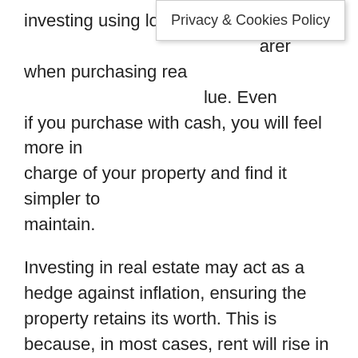investing using loans are when purchasing real estate value. Even if you purchase with cash, you will feel more in charge of your property and find it simpler to maintain.
Investing in real estate may act as a hedge against inflation, ensuring the property retains its worth. This is because, in most cases, rent will rise in tandem with inflation, as will the home's value.
Property ownership may provide tax benefits, as you may be eligible for a tax deduction for mortgage interest paid. If you sell a business property and use the proceeds to buy another commercial property, you may avoid capital gains taxes.
Cons
Investing in real estate will always be more expensive